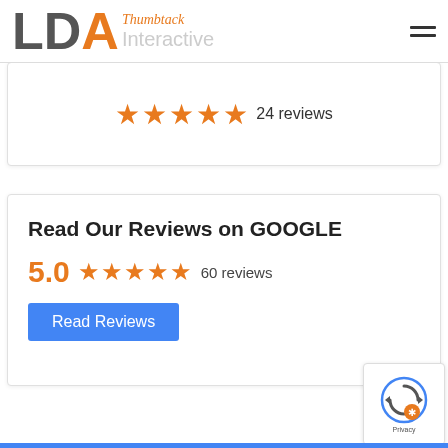[Figure (logo): LDA logo with Thumbtack Interactive text and hamburger menu]
[Figure (other): 5-star rating with 24 reviews on Thumbtack card (partial)]
Read Our Reviews on GOOGLE
5.0 ★★★★★ 60 reviews
Read Reviews